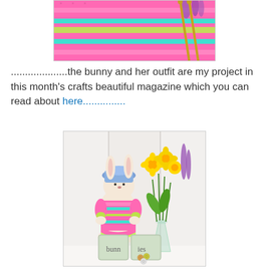[Figure (photo): Close-up of pink knitted bunny outfit with colorful stripes (pink, teal, yellow) and knitting needles visible in background with purple flowers]
....................the bunny and her outfit are my project in this month's crafts beautiful magazine which you can read about here...............
[Figure (photo): A handmade fabric bunny wearing a colorful pink, teal and yellow striped knitted outfit and a blue hat, sitting next to a glass vase of yellow daffodils and purple lavender flowers, with decorative wooden letter blocks spelling 'bunnies' in front]